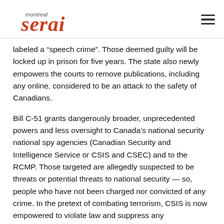montreal serai
labeled a “speech crime”. Those deemed guilty will be locked up in prison for five years. The state also newly empowers the courts to remove publications, including any online, considered to be an attack to the safety of Canadians.
Bill C-51 grants dangerously broader, unprecedented powers and less oversight to Canada’s national security national spy agencies (Canadian Security and Intelligence Service or CSIS and CSEC) and to the RCMP. Those targeted are allegedly suspected to be threats or potential threats to national security — so, people who have not been charged nor convicted of any crime. In the pretext of combating terrorism, CSIS is now empowered to violate law and suppress any